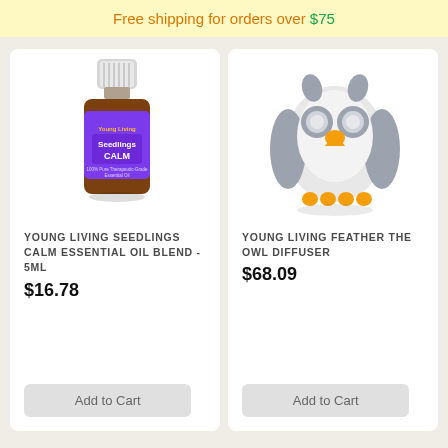Free shipping for orders over $75
[Figure (photo): Young Living Seedlings Calm essential oil blend bottle, 5ml, with purple label]
YOUNG LIVING SEEDLINGS CALM ESSENTIAL OIL BLEND - 5ML
$16.78
Add to Cart
[Figure (photo): Young Living Feather the Owl Diffuser, gray and white owl-shaped diffuser with yellow beak and feet]
YOUNG LIVING FEATHER THE OWL DIFFUSER
$68.09
Add to Cart